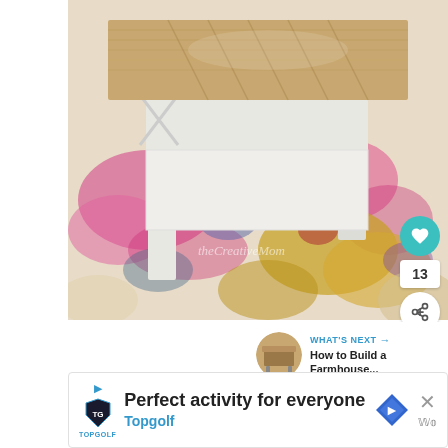[Figure (photo): A white farmhouse-style coffee table with a natural wood herringbone top, sitting on a colorful boho-style rug with pink, yellow, purple and blue floral patterns. A watermark reads 'theCreativeMom'. UI elements visible include a teal heart button showing 13 likes and a share button.]
[Figure (screenshot): What's Next panel showing a circular thumbnail of a wooden table and text: 'WHAT'S NEXT → How to Build a Farmhouse...']
[Figure (screenshot): Advertisement banner for Topgolf: 'Perfect activity for everyone' with Topgolf logo and a blue diamond-shaped navigation icon.]